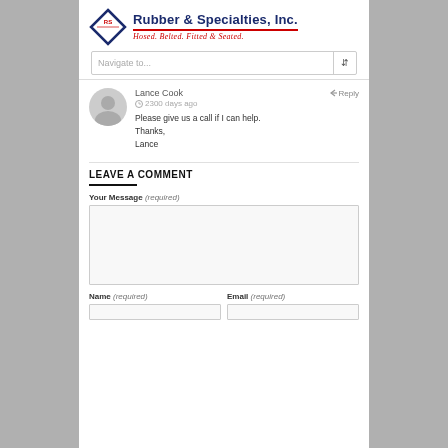[Figure (logo): Rubber & Specialties, Inc. logo with diamond RS emblem and tagline 'Hosed. Belted. Fitted & Seated.']
Navigate to...
Lance Cook
2300 days ago
Please give us a call if I can help.
Thanks,
Lance
LEAVE A COMMENT
Your Message (required)
Name (required)
Email (required)